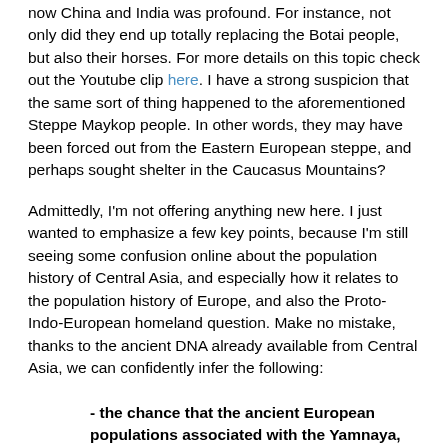now China and India was profound. For instance, not only did they end up totally replacing the Botai people, but also their horses. For more details on this topic check out the Youtube clip here. I have a strong suspicion that the same sort of thing happened to the aforementioned Steppe Maykop people. In other words, they may have been forced out from the Eastern European steppe, and perhaps sought shelter in the Caucasus Mountains?
Admittedly, I'm not offering anything new here. I just wanted to emphasize a few key points, because I'm still seeing some confusion online about the population history of Central Asia, and especially how it relates to the population history of Europe, and also the Proto-Indo-European homeland question. Make no mistake, thanks to the ancient DNA already available from Central Asia, we can confidently infer the following:
- the chance that the ancient European populations associated with the Yamnaya, Corded Ware and other closely related